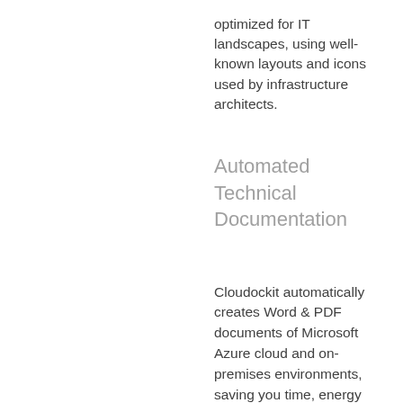optimized for IT landscapes, using well-known layouts and icons used by infrastructure architects.
Automated Technical Documentation
Cloudockit automatically creates Word & PDF documents of Microsoft Azure cloud and on-premises environments, saving you time, energy and reducing the risk of errors. Within a few clicks, you will be able to connect to Cloudockit, select your